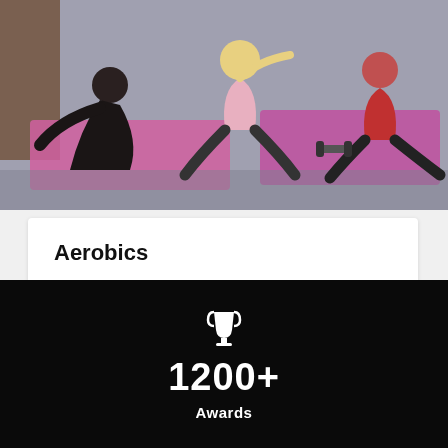[Figure (photo): People doing aerobics exercises on pink mats in a gym]
Aerobics
Lorem ipsum dolor amet, adipiscing, sed do eiusmod tempor incididunt ut labore dolore magna aliqua.
Read More
[Figure (infographic): Dark section with trophy icon, number 1200+, and label Awards]